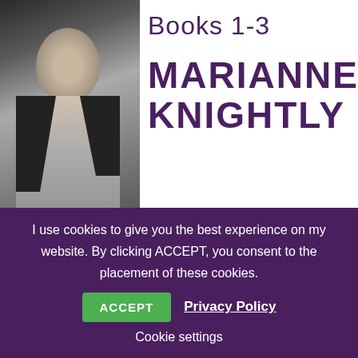[Figure (illustration): Grayscale book cover image showing a man in a partially open jacket, alongside author name 'MARIANNE KNIGHTLY' and subtitle 'Books 1-3']
Books 1-3
MARIANNE KNIGHTLY
Amazon Kindle
I use cookies to give you the best experience on my website. By clicking ACCEPT, you consent to the placement of these cookies.
ACCEPT
Privacy Policy
Cookie settings